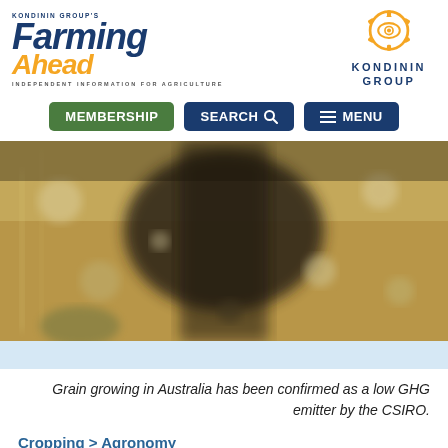[Figure (logo): Kondinin Group's Farming Ahead magazine logo with orange 'Ahead' text and Kondinin Group logo with gear/eye icon on the right]
[Figure (other): Navigation bar with MEMBERSHIP (green), SEARCH (blue), and MENU (blue) buttons]
[Figure (photo): Close-up blurred photo of grain crops in a field, warm golden tones with dark center blur]
Grain growing in Australia has been confirmed as a low GHG emitter by the CSIRO.
Cropping > Agronomy